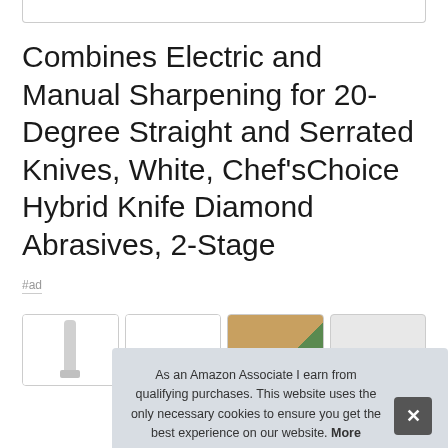Combines Electric and Manual Sharpening for 20-Degree Straight and Serrated Knives, White, Chef'sChoice Hybrid Knife Diamond Abrasives, 2-Stage
#ad
[Figure (photo): Row of four product image thumbnails, partially visible, showing knife sharpener product photos]
As an Amazon Associate I earn from qualifying purchases. This website uses the only necessary cookies to ensure you get the best experience on our website. More information